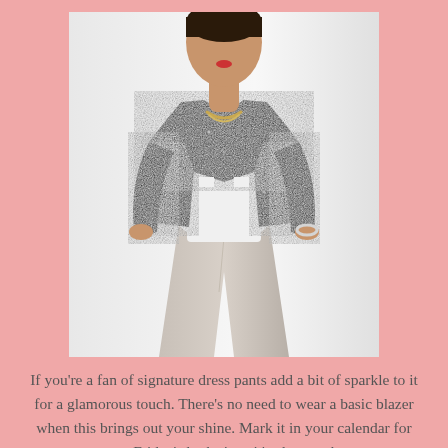[Figure (photo): A woman wearing a black sequin blazer over a white top and light beige/white skinny jeans, with a gold chain necklace and silver bracelet. Fashion product photo on a white background.]
If you're a fan of signature dress pants add a bit of sparkle to it for a glamorous touch. There's no need to wear a basic blazer when this brings out your shine. Mark it in your calendar for next Friday's look since it's close to the